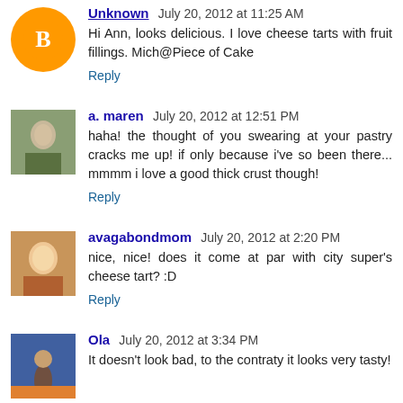Unknown July 20, 2012 at 11:25 AM
Hi Ann, looks delicious. I love cheese tarts with fruit fillings. Mich@Piece of Cake
Reply
a. maren July 20, 2012 at 12:51 PM
haha! the thought of you swearing at your pastry cracks me up! if only because i've so been there... mmmm i love a good thick crust though!
Reply
avagabondmom July 20, 2012 at 2:20 PM
nice, nice! does it come at par with city super's cheese tart? :D
Reply
Ola July 20, 2012 at 3:34 PM
It doesn't look bad, to the contraty it looks very tasty!